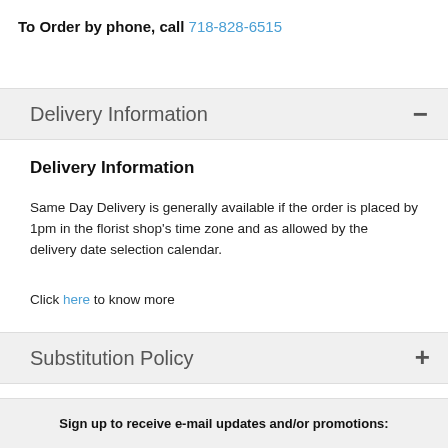To Order by phone, call 718-828-6515
Delivery Information
Delivery Information
Same Day Delivery is generally available if the order is placed by 1pm in the florist shop's time zone and as allowed by the delivery date selection calendar.
Click here to know more
Substitution Policy
Sign up to receive e-mail updates and/or promotions: